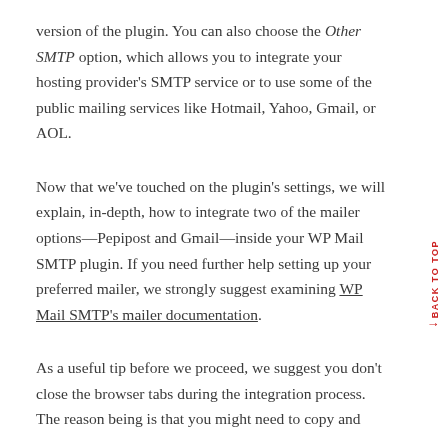version of the plugin. You can also choose the Other SMTP option, which allows you to integrate your hosting provider's SMTP service or to use some of the public mailing services like Hotmail, Yahoo, Gmail, or AOL.
Now that we've touched on the plugin's settings, we will explain, in-depth, how to integrate two of the mailer options—Pepipost and Gmail—inside your WP Mail SMTP plugin. If you need further help setting up your preferred mailer, we strongly suggest examining WP Mail SMTP's mailer documentation.
As a useful tip before we proceed, we suggest you don't close the browser tabs during the integration process. The reason being is that you might need to copy and